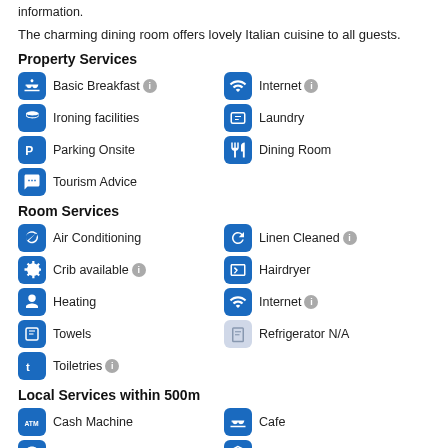information.
The charming dining room offers lovely Italian cuisine to all guests.
Property Services
Basic Breakfast
Internet
Ironing facilities
Laundry
Parking Onsite
Dining Room
Tourism Advice
Room Services
Air Conditioning
Linen Cleaned
Crib available
Hairdryer
Heating
Internet
Towels
Refrigerator N/A
Toiletries
Local Services within 500m
Cash Machine
Cafe
Forex Services
Hospital
Laundromat
Grocer/Market
Dining Options
Features
Property Features
Chapel
Children's Area
Conference R...
Elevator